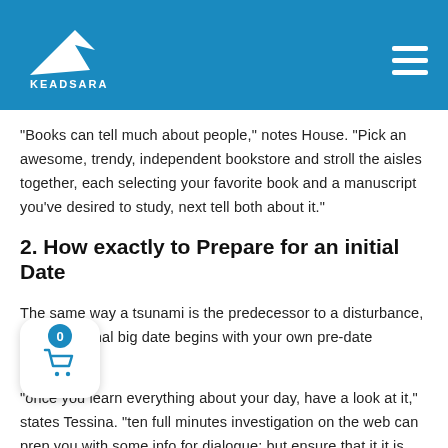KEADSARA [logo with navigation hamburger menu]
“Books can tell much about people,” notes House. “Pick an awesome, trendy, independent bookstore and stroll the aisles together, each selecting your favorite book and a manuscript you’ve desired to study, next tell both about it.”
2. How exactly to Prepare for an initial Date
The same way a tsunami is the predecessor to a disturbance, a phenomenal big date begins with your own pre-date products.
“once you learn everything about your day, have a look at it,” states Tessina. “ten full minutes investigation on the web can prep you with some info for dialogue; but ensure that it it is on, cannot sound like you stalked all of them. Bear in mind do not understand you, and they’re likely getting anxious also, so you should end up being because relaxed as you are